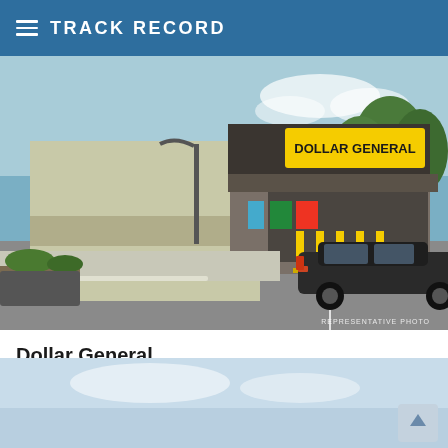TRACK RECORD
[Figure (photo): Exterior photograph of a Dollar General store with a dark car parked in front, yellow bollards near the entrance, and clear blue sky. Text 'REPRESENTATIVE PHOTO' appears in bottom-right corner.]
Dollar General
Ebro, FL
[Figure (photo): Partial view of a second property photo (cropped at bottom of page), showing a light blue sky background.]